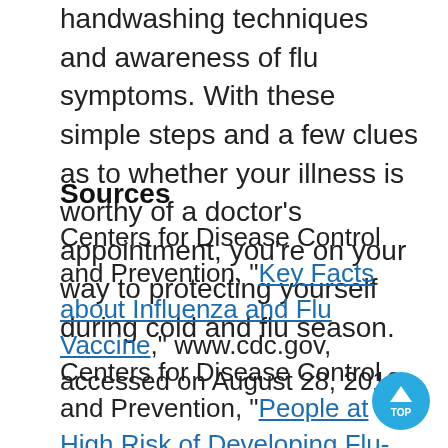handwashing techniques and awareness of flu symptoms. With these simple steps and a few clues as to whether your illness is worthy of a doctor's appointment, you're on your way to protecting yourself during cold and flu season.
Sources
Centers for Disease Control and Prevention, "Key Facts about Influenza and Flu Vaccine," www.cdc.gov, accessed on August 28, 2013.
Centers for Disease Control and Prevention, "People at High Risk of Developing Flu-Related Complications," www.cdc.gov, accessed on August 28, 2013.